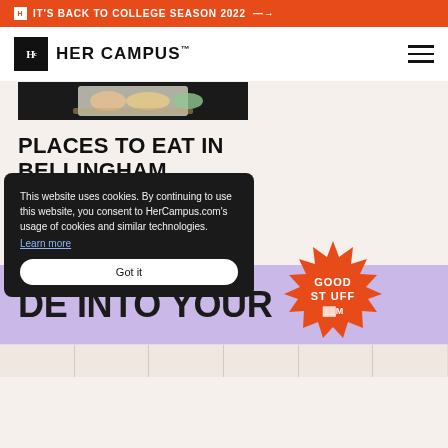IT'S BACK TO COLLEGE SEASON 2022 →
[Figure (logo): Her Campus logo with HC monogram in black box and HER CAMPUS text]
[Figure (photo): Partial food photo cropped at top]
PLACES TO EAT IN BELLINGHAM
READ MORE →
[Figure (illustration): Orange starburst badge with text GOOD STUFF partially visible]
DE INTO YOUR
This website uses cookies. By continuing to use this website, you consent to HerCampus.com's usage of cookies and similar technologies. Learn more
Got it